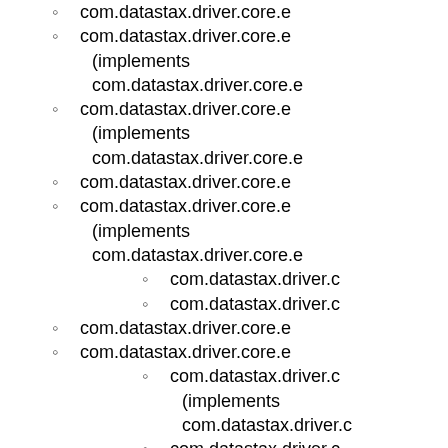com.datastax.driver.core.e
com.datastax.driver.core.e (implements com.datastax.driver.core.e
com.datastax.driver.core.e (implements com.datastax.driver.core.e
com.datastax.driver.core.e
com.datastax.driver.core.e (implements com.datastax.driver.core.e
com.datastax.driver.c
com.datastax.driver.c
com.datastax.driver.core.e
com.datastax.driver.core.e
com.datastax.driver.c (implements com.datastax.driver.c
com.datastax.driver.c (implements com.datastax.driver.c
com.datastax.driver.core.e
com.datastax.driver.core.e
com.datastax.driver.core.e
com.datastax.driver.core.e
com.datastax.driver.core.e
com.datastax.driver.c (implements com.datastax.driver.